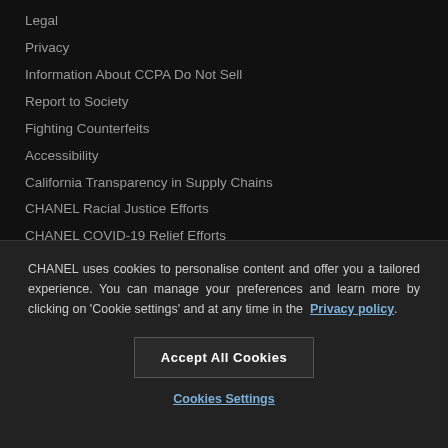Legal
Privacy
Information About CCPA Do Not Sell
Report to Society
Fighting Counterfeits
Accessibility
California Transparency in Supply Chains
CHANEL Racial Justice Efforts
CHANEL COVID-19 Relief Efforts
CHANEL Supports Black Ambition
Transparency in Coverage
CHANEL uses cookies to personalise content and offer you a tailored experience. You can manage your preferences and learn more by clicking on ‘Cookie settings’ and at any time in the Privacy policy.
Accept All Cookies
Cookies Settings